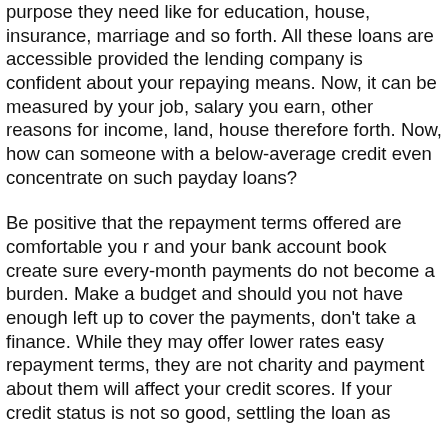purpose they need like for education, house, insurance, marriage and so forth. All these loans are accessible provided the lending company is confident about your repaying means. Now, it can be measured by your job, salary you earn, other reasons for income, land, house therefore forth. Now, how can someone with a below-average credit even concentrate on such payday loans?
Be positive that the repayment terms offered are comfortable you r and your bank account book create sure every-month payments do not become a burden. Make a budget and should you not have enough left up to cover the payments, don't take a finance. While they may offer lower rates easy repayment terms, they are not charity and payment about them will affect your credit scores. If your credit status is not so good, settling the loan as